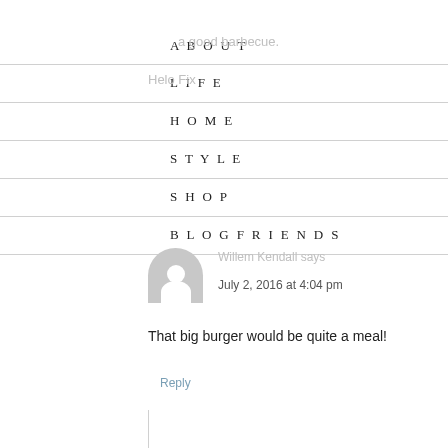ABOUT
you get a good barbecue.
LIFE
Helo Fix
HOME
STYLE
SHOP
BLOG FRIENDS
Willem Kendall says
July 2, 2016 at 4:04 pm
That big burger would be quite a meal!
Reply